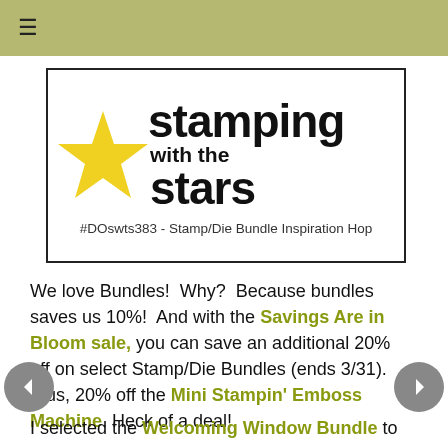≡
[Figure (logo): Stamping with the Stars logo — yellow star graphic on left, bold text 'stamping with the stars' on right, subtitle '#DOswts383 - Stamp/Die Bundle Inspiration Hop']
We love Bundles!  Why?  Because bundles saves us 10%!  And with the Savings Are in Bloom sale, you can save an additional 20% off on select Stamp/Die Bundles (ends 3/31).  Plus, 20% off the Mini Stampin' Emboss Machine.  Heck of a deal!
I selected the Welcoming Window Bundle to